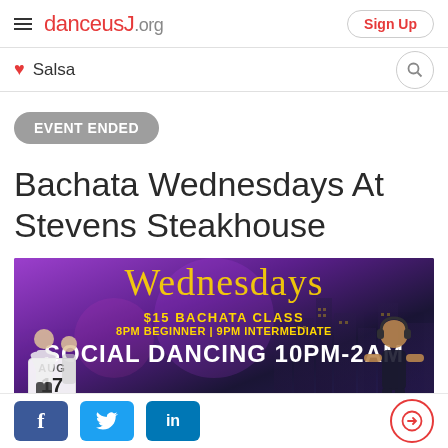danceusJ.org | Sign Up
Salsa
EVENT ENDED
Bachata Wednesdays At Stevens Steakhouse
[Figure (photo): Event promotional banner for Bachata Wednesdays at Stevens Steakhouse. Purple/dark city background with dancing couple on left, DJ on right. Text: 'Wednesdays', '$15 BACHATA CLASS 8PM BEGINNER | 9PM INTERMEDIATE', 'SOCIAL DANCING 10PM-2AM', 'STEVENS'. Date badge showing AUG 17.]
Facebook Twitter LinkedIn share buttons and login icon